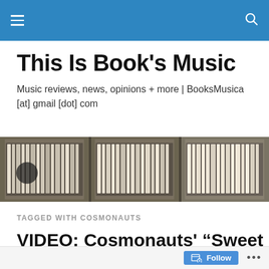This Is Book's Music — navigation header bar
This Is Book's Music
Music reviews, news, opinions + more | BooksMusica [at] gmail [dot] com
[Figure (photo): Photograph of record crates filled with vinyl records in cardboard boxes]
TAGGED WITH COSMONAUTS
VIDEO: Cosmonauts' “Sweet Talk”
Follow